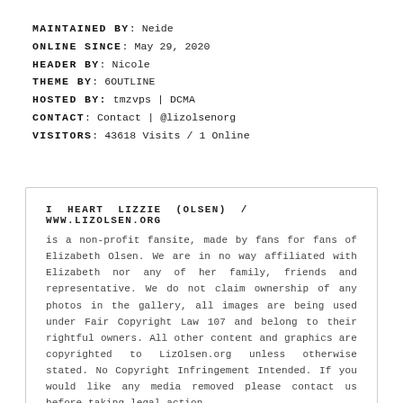MAINTAINED BY: Neide
ONLINE SINCE: May 29, 2020
HEADER BY: Nicole
THEME BY: 6OUTLINE
HOSTED BY: tmzvps | DCMA
CONTACT: Contact | @lizolsenorg
VISITORS: 43618 Visits / 1 Online
I HEART LIZZIE (OLSEN) / WWW.LIZOLSEN.ORG is a non-profit fansite, made by fans for fans of Elizabeth Olsen. We are in no way affiliated with Elizabeth nor any of her family, friends and representative. We do not claim ownership of any photos in the gallery, all images are being used under Fair Copyright Law 107 and belong to their rightful owners. All other content and graphics are copyrighted to LizOlsen.org unless otherwise stated. No Copyright Infringement Intended. If you would like any media removed please contact us before taking legal action.